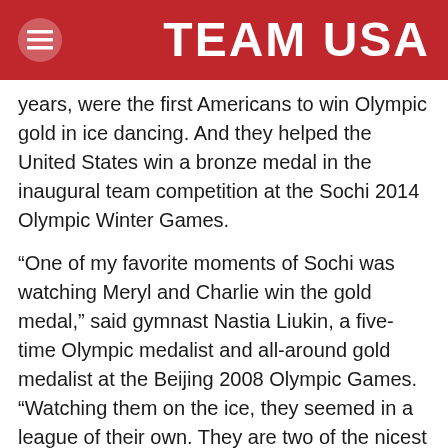TEAM USA
years, were the first Americans to win Olympic gold in ice dancing. And they helped the United States win a bronze medal in the inaugural team competition at the Sochi 2014 Olympic Winter Games.
“One of my favorite moments of Sochi was watching Meryl and Charlie win the gold medal,” said gymnast Nastia Liukin, a five-time Olympic medalist and all-around gold medalist at the Beijing 2008 Olympic Games. “Watching them on the ice, they seemed in a league of their own. They are two of the nicest Olympians I know, so to see their 17-year dream come true is incredible.”
Davis and White are one of three finalists in the Best Olympic Team category in the inaugural Best of U.S.